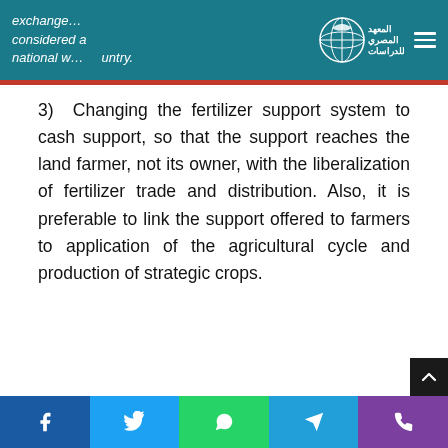exchange… considered a national w… untry.
3) Changing the fertilizer support system to cash support, so that the support reaches the land farmer, not its owner, with the liberalization of fertilizer trade and distribution. Also, it is preferable to link the support offered to farmers to application of the agricultural cycle and production of strategic crops.
Social share bar: Facebook, Twitter, WhatsApp, Telegram, Phone